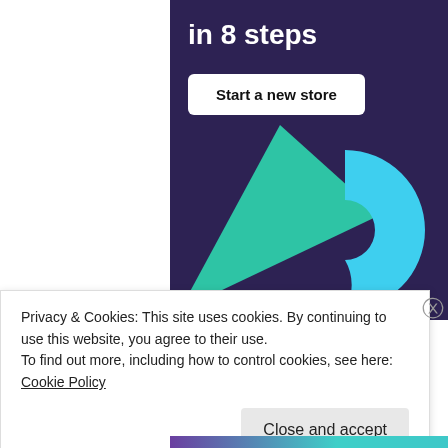in 8 steps
Start a new store
[Figure (illustration): Dark purple banner with a white button labeled 'Start a new store', a green triangle shape on the left side, and a cyan arc/circle shape on the right side.]
Privacy & Cookies: This site uses cookies. By continuing to use this website, you agree to their use.
To find out more, including how to control cookies, see here: Cookie Policy
Close and accept